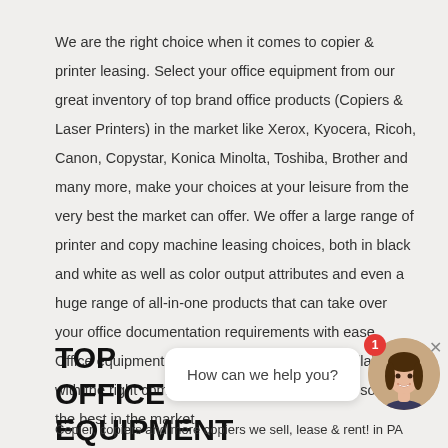We are the right choice when it comes to copier & printer leasing. Select your office equipment from our great inventory of top brand office products (Copiers & Laser Printers) in the market like Xerox, Kyocera, Ricoh, Canon, Copystar, Konica Minolta, Toshiba, Brother and many more, make your choices at your leisure from the very best the market can offer. We offer a large range of printer and copy machine leasing choices, both in black and white as well as color output attributes and even a huge range of all-in-one products that can take over your office documentation requirements with ease. Office equipment (#word:l#) leasing readily available with the right company! - Our leasing offers are some of the best in the market.
TOP OFFICE EQUIPMENT OU NORTH VE
Copier, copiers and more copiers we sell, lease & rent! in PA
[Figure (other): Chat widget overlay showing a smiling woman avatar with a red notification badge showing '1', a white speech bubble with 'How can we help you?', and a close button 'x'.]